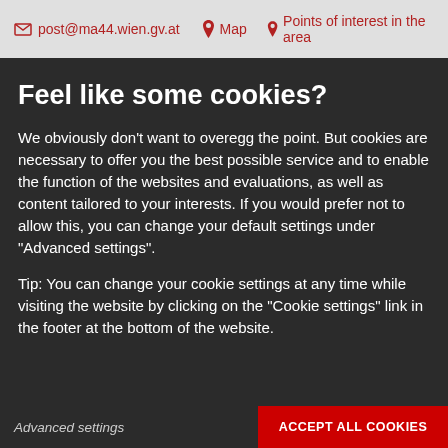post@ma44.wien.gv.at   Map   Points of interest in the area
Feel like some cookies?
We obviously don't want to overegg the point. But cookies are necessary to offer you the best possible service and to enable the function of the websites and evaluations, as well as content tailored to your interests. If you would prefer not to allow this, you can change your default settings under "Advanced settings".
Tip: You can change your cookie settings at any time while visiting the website by clicking on the "Cookie settings" link in the footer at the bottom of the website.
Advanced settings
ACCEPT ALL COOKIES